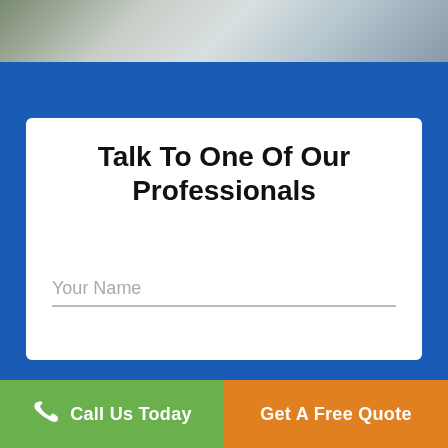[Figure (photo): Aerial/close-up photo of solar panels on a roof, partially visible at top of page]
Talk To One Of Our Professionals
Your Name
Call Us Today
Get A Free Quote